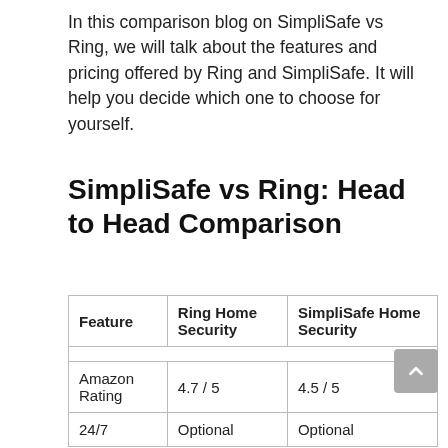In this comparison blog on SimpliSafe vs Ring, we will talk about the features and pricing offered by Ring and SimpliSafe. It will help you decide which one to choose for yourself.
SimpliSafe vs Ring: Head to Head Comparison
| Feature | Ring Home Security | SimpliSafe Home Security |
| --- | --- | --- |
| Amazon Rating | 4.7 / 5 | 4.5 / 5 |
| 24/7 | Optional | Optional |